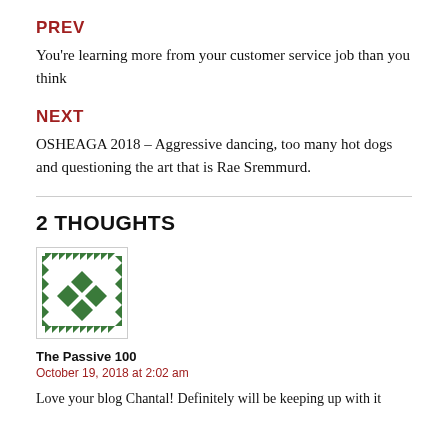PREV
You're learning more from your customer service job than you think
NEXT
OSHEAGA 2018 – Aggressive dancing, too many hot dogs and questioning the art that is Rae Sremmurd.
2 THOUGHTS
[Figure (illustration): Green diamond pattern avatar/gravatar image with geometric shapes on white background with border]
The Passive 100
October 19, 2018 at 2:02 am
Love your blog Chantal! Definitely will be keeping up with it